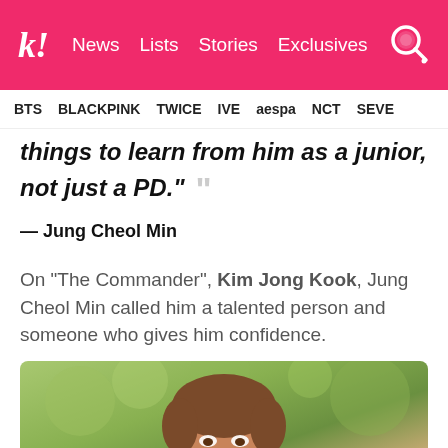k! News Lists Stories Exclusives
BTS BLACKPINK TWICE IVE aespa NCT SEVE
things to learn from him as a junior, not just a PD." — Jung Cheol Min
On “The Commander”, Kim Jong Kook, Jung Cheol Min called him a talented person and someone who gives him confidence.
[Figure (photo): Photo of Kim Jong Kook smiling outdoors with green bokeh background]